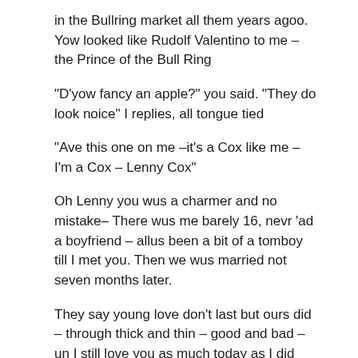in the Bullring market all them years agoo. Yow looked like Rudolf Valentino to me – the Prince of the Bull Ring
“D’yow fancy an apple?” you said. “They do look noice” I replies, all tongue tied
“Ave this one on me –it’s a Cox like me – I’m a Cox – Lenny Cox”
Oh Lenny you wus a charmer and no mistake– There wus me barely 16, nevr ‘ad a boyfriend – allus been a bit of a tomboy till I met you. Then we wus married not seven months later.
They say young love don’t last but ours did – through thick and thin – good and bad – un I still love you as much today as I did the day we tied the knot that day in Saint Martin’s.